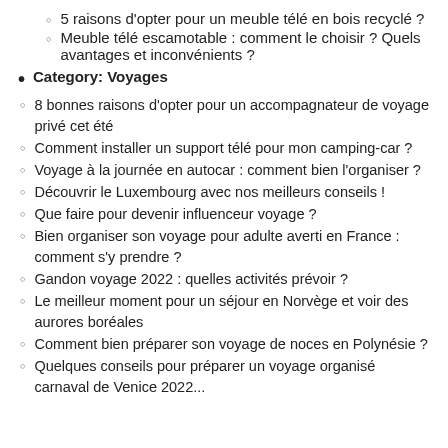5 raisons d'opter pour un meuble télé en bois recyclé ?
Meuble télé escamotable : comment le choisir ? Quels avantages et inconvénients ?
Category: Voyages
8 bonnes raisons d'opter pour un accompagnateur de voyage privé cet été
Comment installer un support télé pour mon camping-car ?
Voyage à la journée en autocar : comment bien l'organiser ?
Découvrir le Luxembourg avec nos meilleurs conseils !
Que faire pour devenir influenceur voyage ?
Bien organiser son voyage pour adulte averti en France : comment s'y prendre ?
Gandon voyage 2022 : quelles activités prévoir ?
Le meilleur moment pour un séjour en Norvège et voir des aurores boréales
Comment bien préparer son voyage de noces en Polynésie ?
Quelques conseils pour préparer un voyage organisé carnaval de Venice 2022...